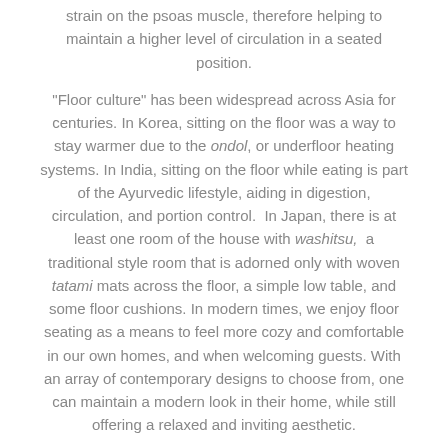strain on the psoas muscle, therefore helping to maintain a higher level of circulation in a seated position.
“Floor culture” has been widespread across Asia for centuries. In Korea, sitting on the floor was a way to stay warmer due to the ondol, or underfloor heating systems. In India, sitting on the floor while eating is part of the Ayurvedic lifestyle, aiding in digestion, circulation, and portion control.  In Japan, there is at least one room of the house with washitsu,  a traditional style room that is adorned only with woven tatami mats across the floor, a simple low table, and some floor cushions. In modern times, we enjoy floor seating as a means to feel more cozy and comfortable in our own homes, and when welcoming guests. With an array of contemporary designs to choose from, one can maintain a modern look in their home, while still offering a relaxed and inviting aesthetic.
We hope you enjoy some of our favorite modern beanbag chair selections!